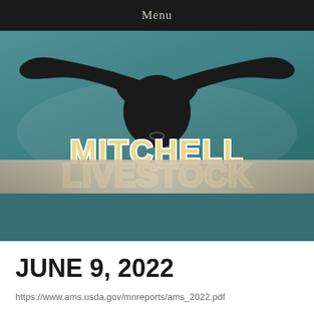Menu
[Figure (logo): Mitchell Livestock logo with longhorn bull silhouette above large stylized text reading MITCHELL LIVESTOCK on a teal gradient background, with a photo strip of auction facility below]
JUNE 9, 2022
https://www.ams.usda.gov/mnreports/ams_2022.pdf